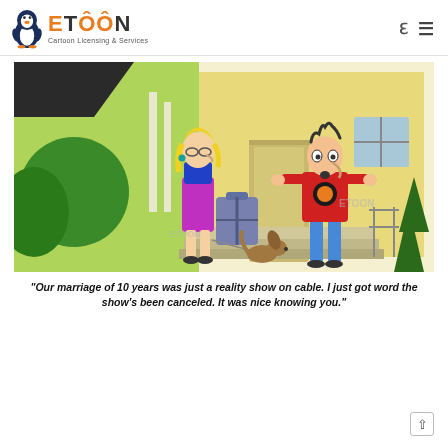ETOON Cartoon Licensing & Services
[Figure (illustration): Cartoon showing a woman with blonde hair holding luggage and a dog on a leash, facing a surprised man in a red shirt at a doorstep of a yellow house. Watermark reads ETOON.]
"Our marriage of 10 years was just a reality show on cable. I just got word the show's been canceled. It was nice knowing you."